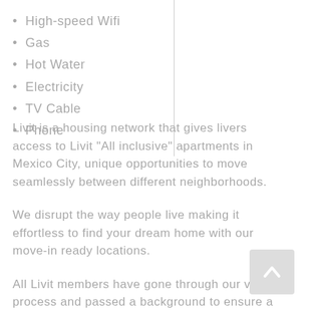High-speed Wifi
Gas
Hot Water
Electricity
TV Cable
Phone
Livit is a housing network that gives livers access to Livit "All inclusive" apartments in Mexico City, unique opportunities to move seamlessly between different neighborhoods.
We disrupt the way people live making it effortless to find your dream home with our move-in ready locations.
All Livit members have gone through our vetting process and passed a background to ensure a safe and warm Livit community